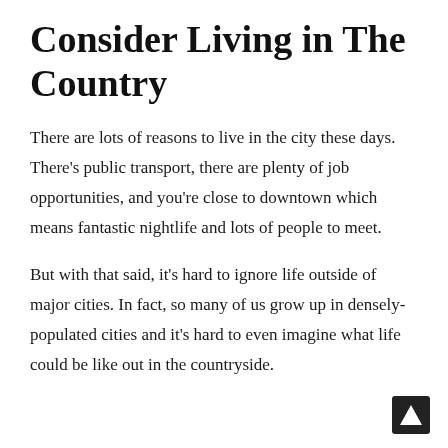Consider Living in The Country
There are lots of reasons to live in the city these days. There's public transport, there are plenty of job opportunities, and you're close to downtown which means fantastic nightlife and lots of people to meet.
But with that said, it's hard to ignore life outside of major cities. In fact, so many of us grow up in densely-populated cities and it's hard to even imagine what life could be like out in the countryside.